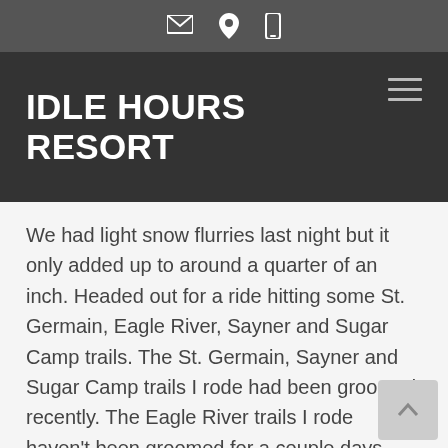[icons: email, location, phone]
IDLE HOURS RESORT
We had light snow flurries last night but it only added up to around a quarter of an inch. Headed out for a ride hitting some St. Germain, Eagle River, Sayner and Sugar Camp trails. The St. Germain, Sayner and Sugar Camp trails I rode had been groomed recently. The Eagle River trails I rode haven't been groomed for a couple days